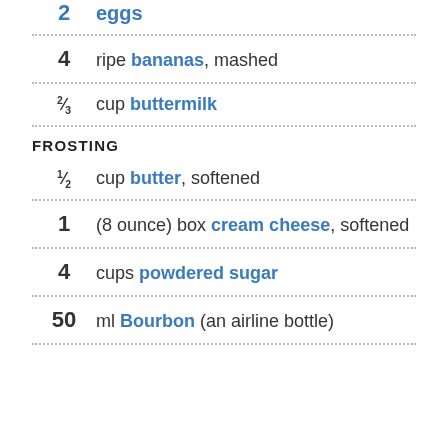2 eggs
4 ripe bananas, mashed
2/3 cup buttermilk
FROSTING
1/2 cup butter, softened
1 (8 ounce) box cream cheese, softened
4 cups powdered sugar
50 ml Bourbon (an airline bottle)